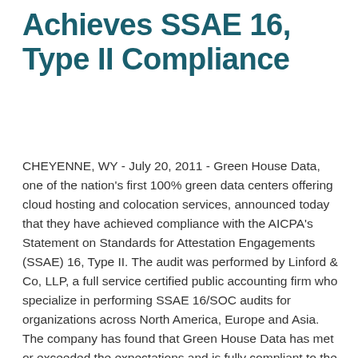Achieves SSAE 16, Type II Compliance
CHEYENNE, WY - July 20, 2011 - Green House Data, one of the nation's first 100% green data centers offering cloud hosting and colocation services, announced today that they have achieved compliance with the AICPA's Statement on Standards for Attestation Engagements (SSAE) 16, Type II. The audit was performed by Linford & Co, LLP, a full service certified public accounting firm who specialize in performing SSAE 16/SOC audits for organizations across North America, Europe and Asia. The company has found that Green House Data has met or exceeded the expectations and is fully compliant to the standard.